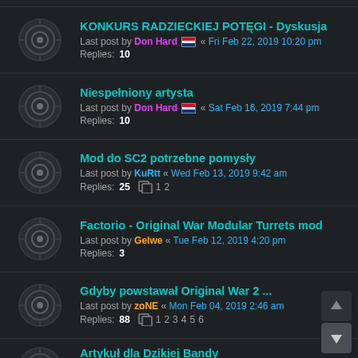KONKURS RADZIECKIEJ POTĘGI - Dyskusja
Last post by Don Hard « Fri Feb 22, 2019 10:20 pm
Replies: 10
Niespełniony artysta
Last post by Don Hard « Sat Feb 16, 2019 7:44 pm
Replies: 10
Mod do SC2 potrzebne pomysły
Last post by KuRtt « Wed Feb 13, 2019 9:42 am
Replies: 25
Pages: 1 2
Factorio - Original War Modular Turrets mod
Last post by Gelwe « Tue Feb 12, 2019 4:20 pm
Replies: 3
Gdyby powstawał Original War 2 ...
Last post by zoNE « Mon Feb 04, 2019 2:46 am
Replies: 88
Pages: 1 2 3 4 5 6
Artykuł dla Dzikiej Bandy
Last post by Gelwe « Mon Feb 04, 2019 12:14 am